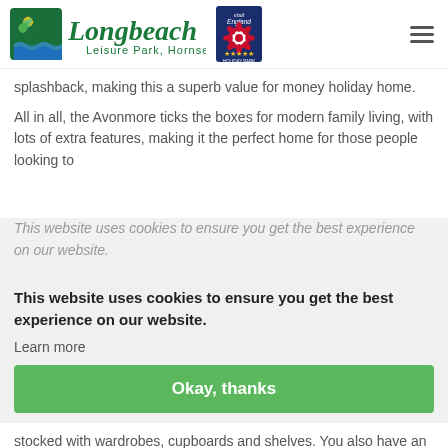[Figure (logo): Longbeach Leisure Park Hornsea logo with Visit England 5-star Holiday Park badge and hamburger menu icon]
splashback, making this a superb value for money holiday home.
All in all, the Avonmore ticks the boxes for modern family living, with lots of extra features, making it the perfect home for those people looking to...
This website uses cookies to ensure you get the best experience on our website.
Learn more
Okay, thanks
...master bedrooms spacious and absolutely stocked with wardrobes, cupboards and shelves. You also have an en suite bathroom with WC, so this is the one room where you can close the door to escape and relax in your own peaceful